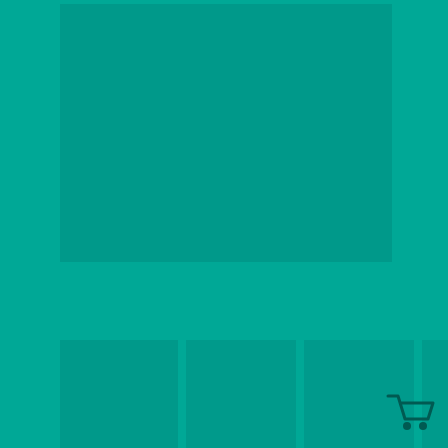[Figure (photo): Large main artwork image placeholder on teal background]
[Figure (photo): Row of five smaller thumbnail images]
[Figure (photo): Row of two smaller thumbnail images]
| Artist | Julia Farrow |
| Gender | Male |
| Style | Inuit |
| Community | Cape Dorset |